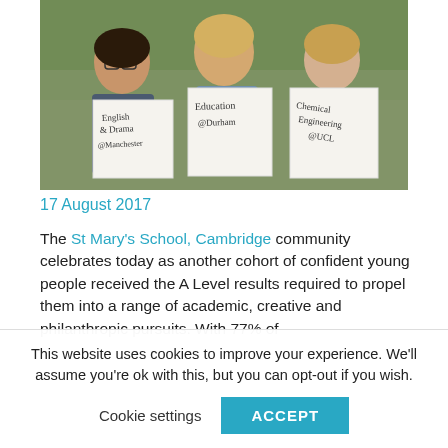[Figure (photo): Three young women standing outdoors, each holding a hand-written sign. Left sign reads 'English & Drama @Manchester', middle sign reads 'Education @Durham', right sign reads 'Chemical Engineering @UCL'.]
17 August 2017
The St Mary's School, Cambridge community celebrates today as another cohort of confident young people received the A Level results required to propel them into a range of academic, creative and philanthropic pursuits. With 77% of
This website uses cookies to improve your experience. We'll assume you're ok with this, but you can opt-out if you wish.
Cookie settings
ACCEPT